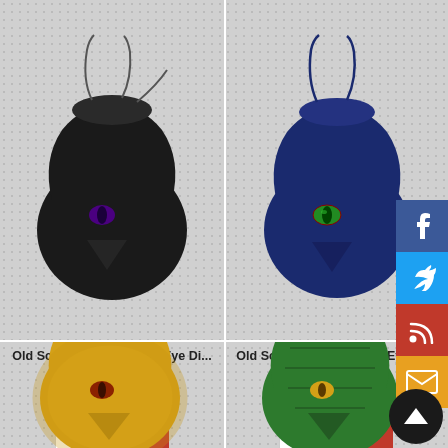[Figure (photo): Black leather drawstring dice bag with purple dragon eye emblem]
Old School Dice: Dragon Eye Di...
Brand New
$14.99
[Figure (photo): Navy blue leather drawstring dice bag with green dragon eye emblem]
Old School Dice: Dragon Eye Di...
Brand New
$14.99
[Figure (photo): Gold/yellow metallic drawstring dice bag with red dragon eye emblem]
[Figure (photo): Green textured leather drawstring dice bag with dragon eye emblem]